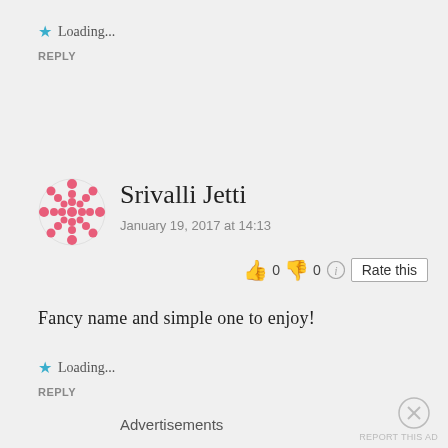★ Loading...
REPLY
Srivalli Jetti
January 19, 2017 at 14:13
[Figure (other): Thumbs up 0, thumbs down 0, info icon, Rate this button]
Fancy name and simple one to enjoy!
★ Loading...
REPLY
Advertisements